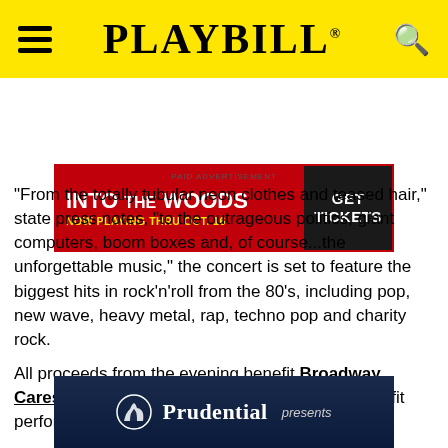PLAYBILL
[Figure (other): Into the Woods advertisement banner: red background with white text 'INTO THE WOODS', yellow text 'NOW PLAYING THRU OCT. 16', dark right panel with white text 'GET TICKETS']
PAID ADVERTISEMENT
"From the totally tubular neon clothes and teased hair," state press notes, "to the outrageous politics, giant computers, boom boxes and, of course...the unforgettable music," the concert is set to feature the biggest hits in rock'n'roll from the 80's, including pop, new wave, heavy metal, rap, techno pop and charity rock.
All proceeds from the evening benefit Broadway Cares/Equity Fights AIDS (BC/EFA) and non-profit performing arts education programs.
[Figure (logo): Prudential presents — logo with Prudential Rock of Gibraltar icon on dark blue background]